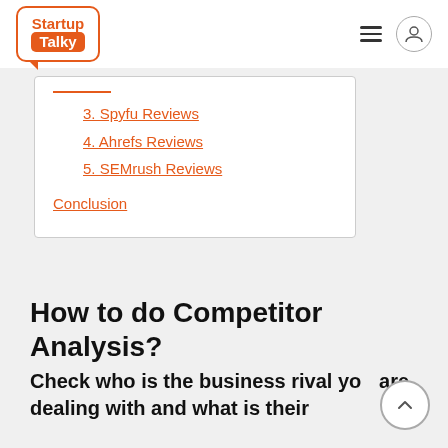Startup Talky
3. Spyfu Reviews
4. Ahrefs Reviews
5. SEMrush Reviews
Conclusion
How to do Competitor Analysis?
Check who is the business rival you are dealing with and what is their